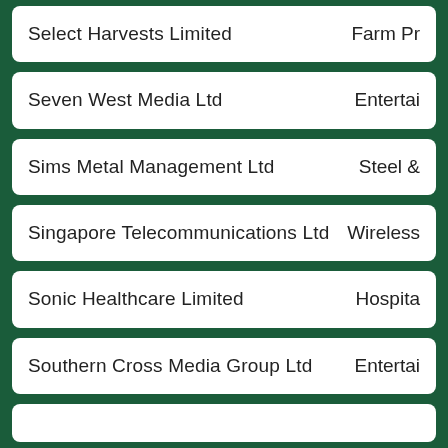Select Harvests Limited | Farm Pr...
Seven West Media Ltd | Enterta...
Sims Metal Management Ltd | Steel &...
Singapore Telecommunications Ltd | Wireless...
Sonic Healthcare Limited | Hospita...
Southern Cross Media Group Ltd | Enterta...
...